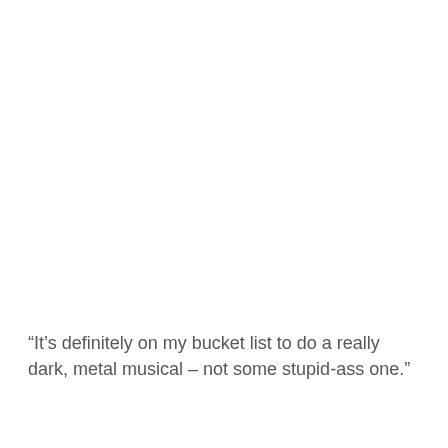“It’s definitely on my bucket list to do a really dark, metal musical – not some stupid-ass one.”